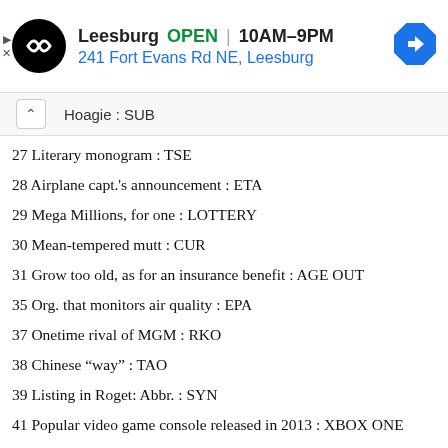[Figure (infographic): Ad banner for a store in Leesburg showing logo, OPEN status, hours 10AM-9PM, address 241 Fort Evans Rd NE Leesburg, and navigation icon]
Hoagie : SUB
27 Literary monogram : TSE
28 Airplane capt.'s announcement : ETA
29 Mega Millions, for one : LOTTERY
30 Mean-tempered mutt : CUR
31 Grow too old, as for an insurance benefit : AGE OUT
35 Org. that monitors air quality : EPA
37 Onetime rival of MGM : RKO
38 Chinese “way” : TAO
39 Listing in Roget: Abbr. : SYN
41 Popular video game console released in 2013 : XBOX ONE
43 Entrance to an interstate : ON RAMP
44 Lunchtime tryst : NOONER